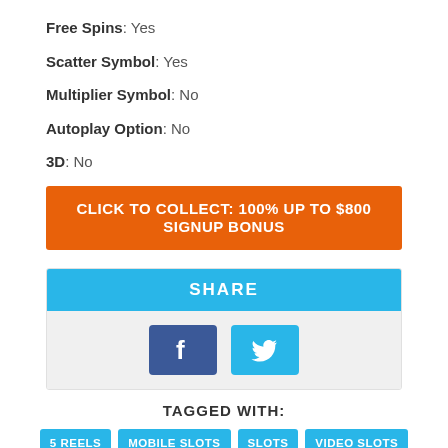Free Spins: Yes
Scatter Symbol: Yes
Multiplier Symbol: No
Autoplay Option: No
3D: No
CLICK TO COLLECT: 100% UP TO $800 SIGNUP BONUS
SHARE
[Figure (infographic): Social share buttons: Facebook (blue square with f icon) and Twitter (light blue square with bird icon)]
TAGGED WITH:
5 REELS | MOBILE SLOTS | SLOTS | VIDEO SLOTS